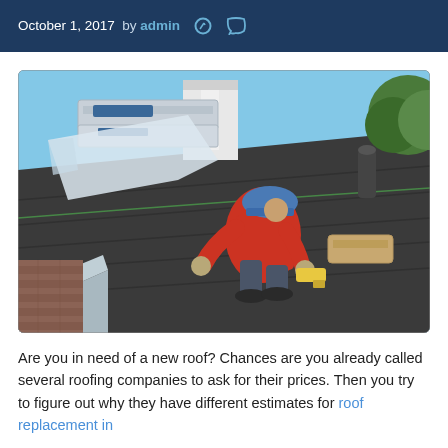October 1, 2017  by admin
[Figure (photo): A roofer in a red long-sleeve shirt and blue hard hat kneeling on a dark roof, using a nail gun to install shingles. Stacked roofing materials are visible in the upper left, a brick wall in the lower left, and green trees in the upper right against a blue sky.]
Are you in need of a new roof? Chances are you already called several roofing companies to ask for their prices. Then you try to figure out why they have different estimates for roof replacement in